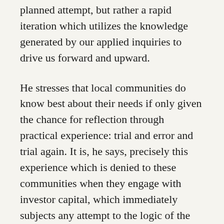planned attempt, but rather a rapid iteration which utilizes the knowledge generated by our applied inquiries to drive us forward and upward.
He stresses that local communities do know best about their needs if only given the chance for reflection through practical experience: trial and error and trial again. It is, he says, precisely this experience which is denied to these communities when they engage with investor capital, which immediately subjects any attempt to the logic of the “tyranny of the margin,” the need to compete in the market, to maximize profits. To produce flexible organizations which can continually adapt and innovate as circumstances change and our knowledge grows, Benkler suggests that we look to methodologies that have already proved successful. These could include institutional